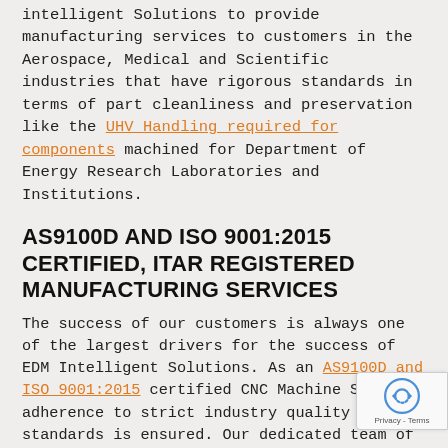intelligent Solutions to provide manufacturing services to customers in the Aerospace, Medical and Scientific industries that have rigorous standards in terms of part cleanliness and preservation like the UHV Handling required for components machined for Department of Energy Research Laboratories and Institutions.
AS9100D AND ISO 9001:2015 CERTIFIED, ITAR REGISTERED MANUFACTURING SERVICES
The success of our customers is always one of the largest drivers for the success of EDM Intelligent Solutions. As an AS9100D and ISO 9001:2015 certified CNC Machine Shop our adherence to strict industry quality standards is ensured. Our dedicated team of machining and engineering professionals strive for only the highest levels of precision aided by the best CNC electrical discharge machinery available integrated within a highly organized, temperature-controlled facility that